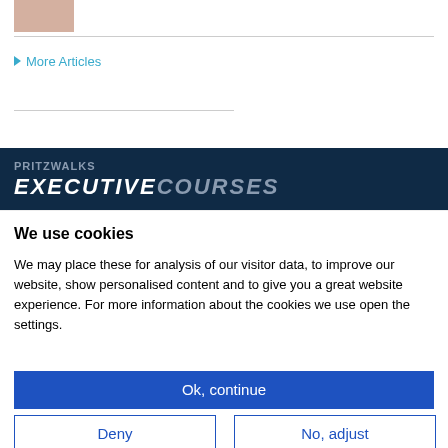[Figure (photo): Partial photo of hands, cropped at top]
More Articles
PRITZWALKS EXECUTIVECOURSES
We use cookies
We may place these for analysis of our visitor data, to improve our website, show personalised content and to give you a great website experience. For more information about the cookies we use open the settings.
Ok, continue
Deny
No, adjust